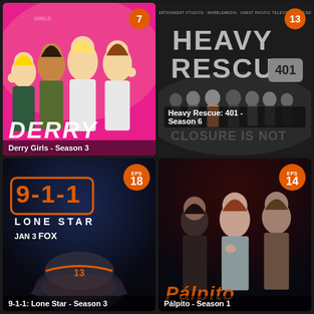[Figure (photo): TV show poster for Derry Girls Season 3 with pink background and school-uniformed young people, badge showing 7]
Derry Girls - Season 3
[Figure (photo): TV show poster for Heavy Rescue: 401 Season 6 with dark background and group of workers, badge showing 13]
Heavy Rescue: 401 - Season 6
[Figure (photo): TV show poster for 9-1-1: Lone Star Season 3 with dark blue background, 9-1-1 logo, JAN 3 FOX text, firefighter helmet, EPS 18 badge]
9-1-1: Lone Star - Season 3
[Figure (photo): TV show poster for Pálpito Season 1 with dark background and three actors, EPS 14 badge]
Pálpito - Season 1